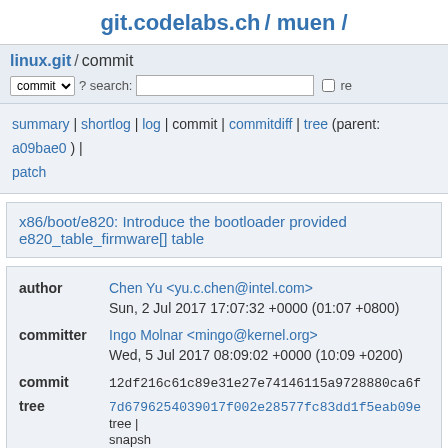git.codelabs.ch / muen /
linux.git / commit
commit ? search: re
summary | shortlog | log | commit | commitdiff | tree (parent: a09bae0) | patch
x86/boot/e820: Introduce the bootloader provided e820_table_firmware[] table
| field | value |
| --- | --- |
| author | Chen Yu <yu.c.chen@intel.com> |
|  | Sun, 2 Jul 2017 17:07:32 +0000 (01:07 +0800) |
| committer | Ingo Molnar <mingo@kernel.org> |
|  | Wed, 5 Jul 2017 08:09:02 +0000 (10:09 +0200) |
| commit | 12df216c61c89e31e27e74146115a9728880ca6f |
| tree | 7d6796254039017f002e28577fc83dd1f5eab09e  tree | snapsh... (tar.gz |